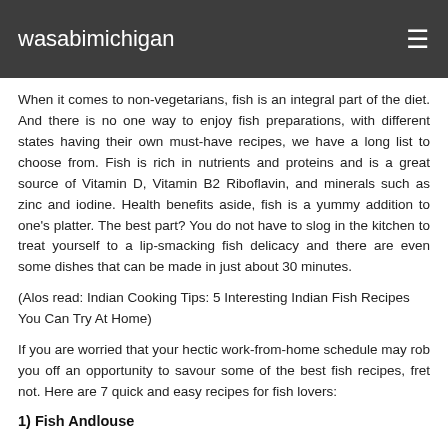wasabimichigan
When it comes to non-vegetarians, fish is an integral part of the diet. And there is no one way to enjoy fish preparations, with different states having their own must-have recipes, we have a long list to choose from. Fish is rich in nutrients and proteins and is a great source of Vitamin D, Vitamin B2 Riboflavin, and minerals such as zinc and iodine. Health benefits aside, fish is a yummy addition to one's platter. The best part? You do not have to slog in the kitchen to treat yourself to a lip-smacking fish delicacy and there are even some dishes that can be made in just about 30 minutes.
(Alos read: Indian Cooking Tips: 5 Interesting Indian Fish Recipes You Can Try At Home)
If you are worried that your hectic work-from-home schedule may rob you off an opportunity to savour some of the best fish recipes, fret not. Here are 7 quick and easy recipes for fish lovers:
1) Fish Andlouse